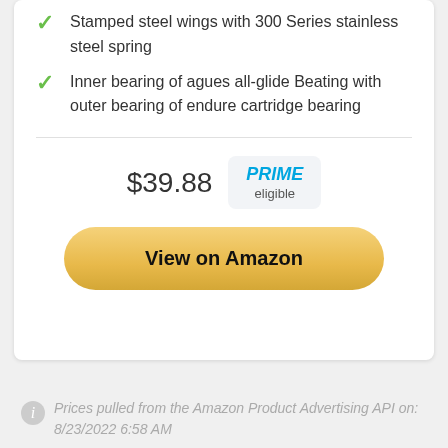Stamped steel wings with 300 Series stainless steel spring
Inner bearing of agues all-glide Beating with outer bearing of endure cartridge bearing
$39.88
PRIME eligible
View on Amazon
Prices pulled from the Amazon Product Advertising API on: 8/23/2022 6:58 AM